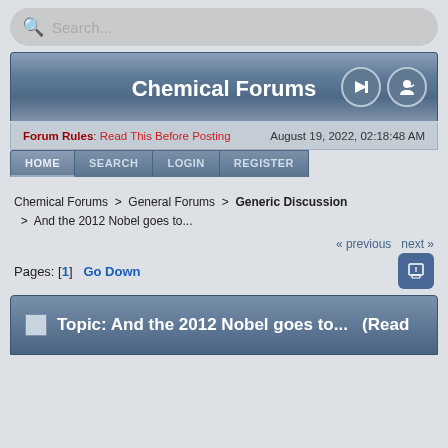Search...
Chemical Forums
Forum Rules: Read This Before Posting    August 19, 2022, 02:18:48 AM
HOME  SEARCH  LOGIN  REGISTER
Chemical Forums > General Forums > Generic Discussion > And the 2012 Nobel goes to...
« previous  next »
Pages: [1]  Go Down
Topic: And the 2012 Nobel goes to...  (Read